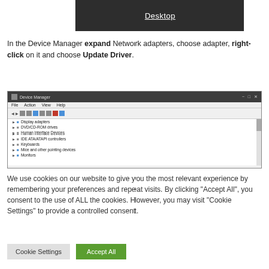[Figure (screenshot): Dark menu bar showing 'Desktop' option with underline]
In the Device Manager expand Network adapters, choose adapter, right-click on it and choose Update Driver.
[Figure (screenshot): Device Manager window showing a tree list with: Display adapters, DVD/CD-ROM drives, Human Interface Devices, IDE ATA/ATAPI controllers, Keyboards, Mice and other pointing devices, Monitors]
We use cookies on our website to give you the most relevant experience by remembering your preferences and repeat visits. By clicking "Accept All", you consent to the use of ALL the cookies. However, you may visit "Cookie Settings" to provide a controlled consent.
Cookie Settings
Accept All